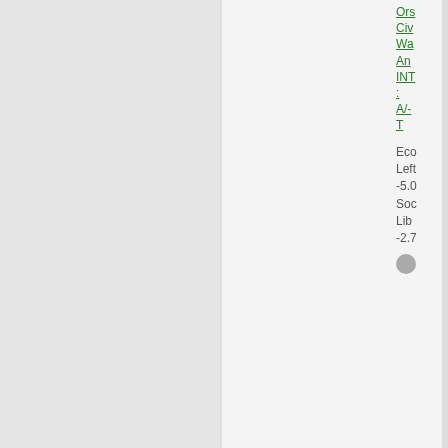Ors Civ Wa An INT : A/- T
Eco Left -5.0 Soc Libe -2.7
[Figure (screenshot): Forum post by Keomora with avatar showing a red and black flag with a phoenix emblem. Username Keomora in green, role Ambassador, Posts: 1115, Founded: Mar 23, 2016, Civil Rights Lovefest]
QUOTE
by Keomora » Thu May 03, 2018 10:20 am
Du the